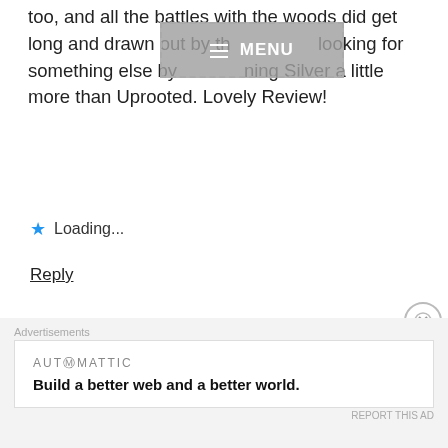too, and all the battles with the woods did get long and drawn out by th[e menu overlay] looking for something else by [obscured] ning Silver a little more than Uprooted. Lovely Review!
Loading...
Reply
innah96
JANUARY 14, 2021 AT 8:29 PM
Thank you so much Blue! Spinning Silver is definitely on my list 💕 hope your next read is
Advertisements
AUTOMATTIC
Build a better web and a better world.
REPORT THIS AD